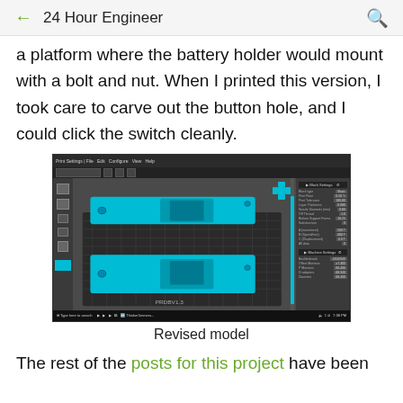← 24 Hour Engineer 🔍
a platform where the battery holder would mount with a bolt and nut. When I printed this version, I took care to carve out the button hole, and I could click the switch cleanly.
[Figure (screenshot): Screenshot of a 3D modeling software (likely Cura or similar slicer) showing a revised 3D model of a device with teal/cyan colored parts on a dark grid background. The right panel shows print settings.]
Revised model
The rest of the posts for this project have been